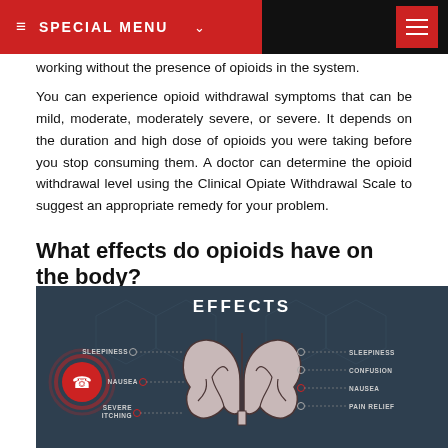SPECIAL MENU
working without the presence of opioids in the system.
You can experience opioid withdrawal symptoms that can be mild, moderate, moderately severe, or severe. It depends on the duration and high dose of opioids you were taking before you stop consuming them. A doctor can determine the opioid withdrawal level using the Clinical Opiate Withdrawal Scale to suggest an appropriate remedy for your problem.
What effects do opioids have on the body?
[Figure (infographic): Dark teal infographic titled EFFECTS showing a stylized brain in the center with left-side labels (SLEEPINESS, NAUSEA, SEVERE ITCHING) and right-side labels (SLEEPINESS, CONFUSION, NAUSEA, PAIN RELIEF) connected by dotted lines, and a red phone call button on the left side.]